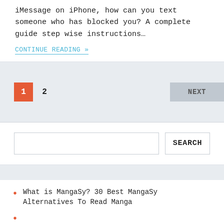iMessage on iPhone, how can you text someone who has blocked you? A complete guide step wise instructions…
CONTINUE READING »
1  2  NEXT
SEARCH
What is MangaSy? 30 Best MangaSy Alternatives To Read Manga